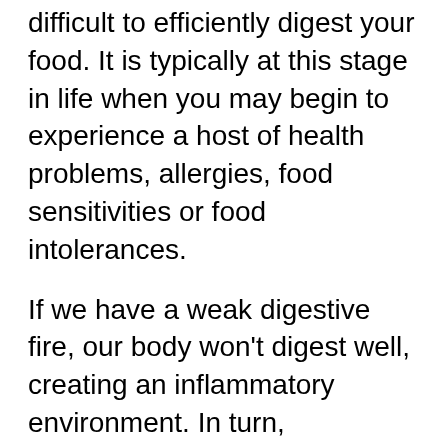difficult to efficiently digest your food. It is typically at this stage in life when you may begin to experience a host of health problems, allergies, food sensitivities or food intolerances.
If we have a weak digestive fire, our body won't digest well, creating an inflammatory environment. In turn, inflammatory foods can dampen the digestive fire by promoting negative microbes that disrupt the healthy microbiome of our gut ecology.
In fact, an inflammatory digestive environment can cause such a dramatic disturbance that we have a terrible time